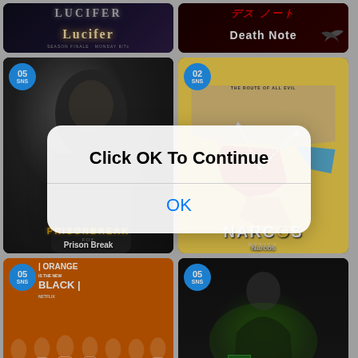[Figure (illustration): Lucifer TV show poster with stylized title text on dark background]
[Figure (illustration): Death Note anime/show poster with red stylized text on dark background]
[Figure (illustration): Prison Break TV show poster showing a man's face with PRISONBREAK FOX text, SNS badge 05]
[Figure (illustration): Narcos Mexico TV show poster with map background showing drug routes, NARCOS MEXICO title, SNS badge 02]
[Figure (screenshot): Modal dialog overlay: Click OK To Continue with OK button]
[Figure (illustration): Orange Is the New Black Netflix show poster with cast in orange jumpsuits, SNS badge 05]
[Figure (illustration): Breaking Bad AMC show poster with Walter White and green glow, Breaking Bad title, SNS badge 05]